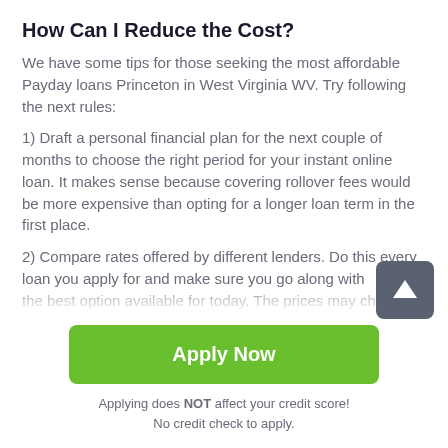How Can I Reduce the Cost?
We have some tips for those seeking the most affordable Payday loans Princeton in West Virginia WV. Try following the next rules:
1) Draft a personal financial plan for the next couple of months to choose the right period for your instant online loan. It makes sense because covering rollover fees would be more expensive than opting for a longer loan term in the first place.
2) Compare rates offered by different lenders. Do this every loan you apply for and make sure you go along with the best option available for today. The prices may change
[Figure (other): Scroll-to-top button: dark grey rounded square with white upward arrow]
Apply Now
Applying does NOT affect your credit score!
No credit check to apply.